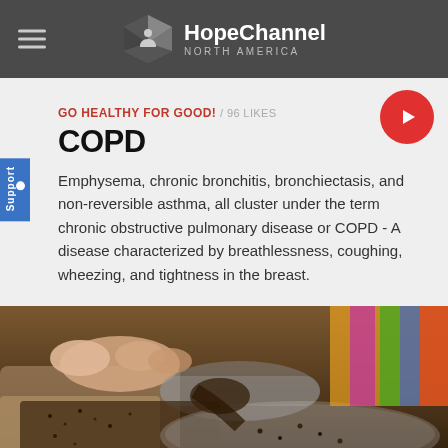HopeChannel NORTH AMERICA
GO HEALTHY FOR GOOD! / 96 LIKES
COPD
Emphysema, chronic bronchitis, bronchiectasis, and non-reversible asthma, all cluster under the term chronic obstructive pulmonary disease or COPD - A disease characterized by breathlessness, coughing, wheezing, and tightness in the breast.
[Figure (photo): Close-up photo of hands scooping dark seeds (chia or quinoa) from a bag into a glass bowl, with colorful fabric in the background.]